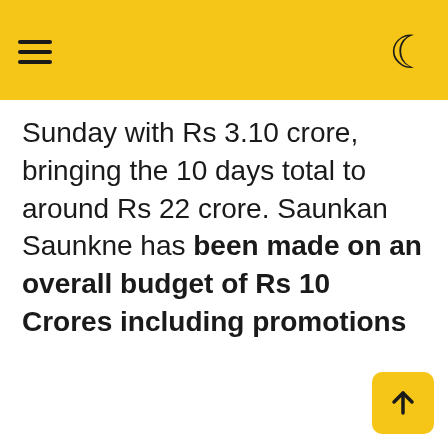☰ 🌙
Sunday with Rs 3.10 crore, bringing the 10 days total to around Rs 22 crore. Saunkan Saunkne has been made on an overall budget of Rs 10 Crores including promotions